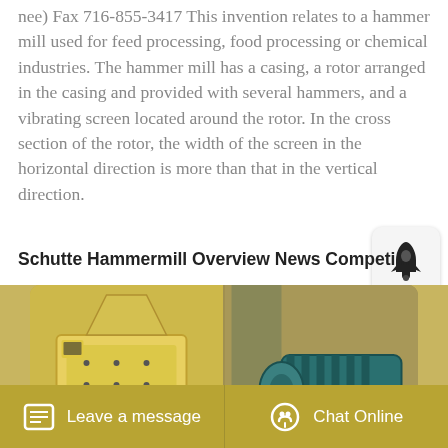nee) Fax 716-855-3417 This invention relates to a hammer mill used for feed processing, food processing or chemical industries. The hammer mill has a casing, a rotor arranged in the casing and provided with several hammers, and a vibrating screen located around the rotor. In the cross section of the rotor, the width of the screen in the horizontal direction is more than that in the vertical direction.
Schutte Hammermill Overview News Competi...
[Figure (photo): Photo of a yellow industrial hammer mill machine on the left side and a teal/green electric motor on the right side, shown against a light background.]